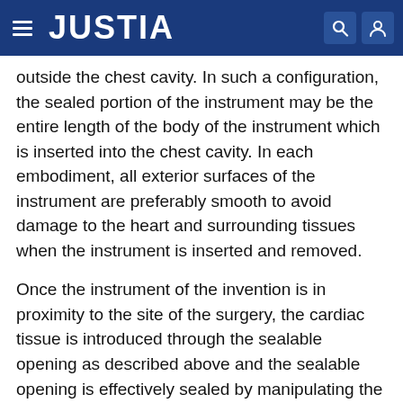JUSTIA
outside the chest cavity. In such a configuration, the sealed portion of the instrument may be the entire length of the body of the instrument which is inserted into the chest cavity. In each embodiment, all exterior surfaces of the instrument are preferably smooth to avoid damage to the heart and surrounding tissues when the instrument is inserted and removed.
Once the instrument of the invention is in proximity to the site of the surgery, the cardiac tissue is introduced through the sealable opening as described above and the sealable opening is effectively sealed by manipulating the sealing member into an orientation necessary to prevent the flow of blood into the segregated surgical field. The sealing member can be provided in several shapes, depending on the shape of the body of the instrument, and can be oriented by